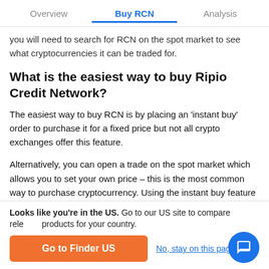Overview | Buy RCN | Analysis
you will need to search for RCN on the spot market to see what cryptocurrencies it can be traded for.
What is the easiest way to buy Ripio Credit Network?
The easiest way to buy RCN is by placing an 'instant buy' order to purchase it for a fixed price but not all crypto exchanges offer this feature.
Alternatively, you can open a trade on the spot market which allows you to set your own price – this is the most common way to purchase cryptocurrency. Using the instant buy feature is straightforward but typically more expensive than using the spot market.
Looks like you're in the US. Go to our US site to compare relevant products for your country.
Go to Finder US | No, stay on this page